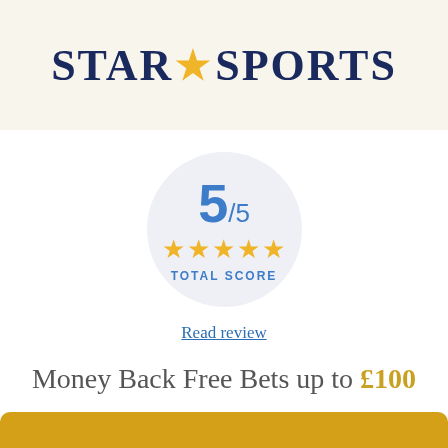[Figure (logo): Star Sports logo with star icon between STAR and SPORTS text on cream/beige background]
[Figure (infographic): Circular score badge showing 5/5 rating with 5 gold stars and TOTAL SCORE label]
Read review
Money Back Free Bets up to £100